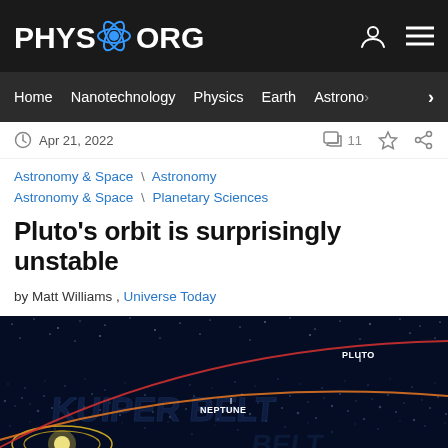PHYS.ORG
Home | Nanotechnology | Physics | Earth | Astronomy
Apr 21, 2022  |  11
Astronomy & Space \ Astronomy
Astronomy & Space \ Planetary Sciences
Pluto's orbit is surprisingly unstable
by Matt Williams , Universe Today
[Figure (illustration): Space illustration showing the Kuiper Belt with labeled orbital paths for Jupiter, Neptune, and Pluto. The image shows a dark space background with scattered asteroid/debris field (the Kuiper Belt), overlaid text 'KUIPER BELT', and labeled orbital lines in yellow (Jupiter), orange (Neptune), and red (Pluto).]